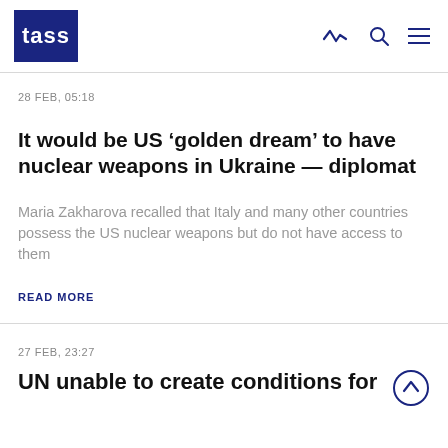TASS
28 FEB, 05:18
It would be US ‘golden dream’ to have nuclear weapons in Ukraine — diplomat
Maria Zakharova recalled that Italy and many other countries possess the US nuclear weapons but do not have access to them
READ MORE
27 FEB, 23:27
UN unable to create conditions for